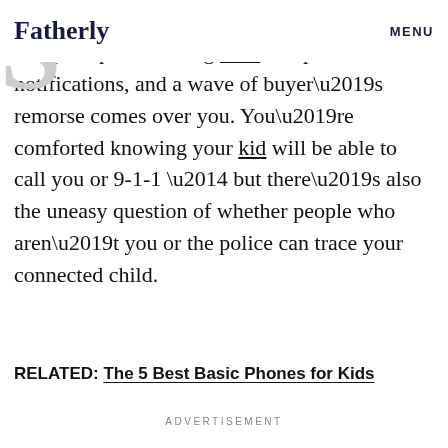Fatherly   MENU
phone. You bust open the box, go through a few prompts involving GPS and push notifications, and a wave of buyer’s remorse comes over you. You’re comforted knowing your kid will be able to call you or 9-1-1 — but there’s also the uneasy question of whether people who aren’t you or the police can trace your connected child.
RELATED: The 5 Best Basic Phones for Kids
ADVERTISEMENT